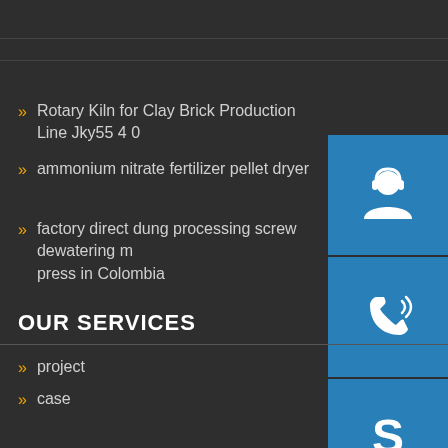Rotary Kiln for Clay Brick Production Line Jky55 4 0
ammonium nitrate fertilizer pellet dryer
factory direct dung processing screw dewatering m press in Colombia
[Figure (illustration): Blue square button with white customer service / headset icon]
[Figure (illustration): Blue square button with white phone/call icon]
[Figure (illustration): Blue square button with white Skype icon]
OUR SERVICES
project
case
CONTACT US
henan zhengzhou